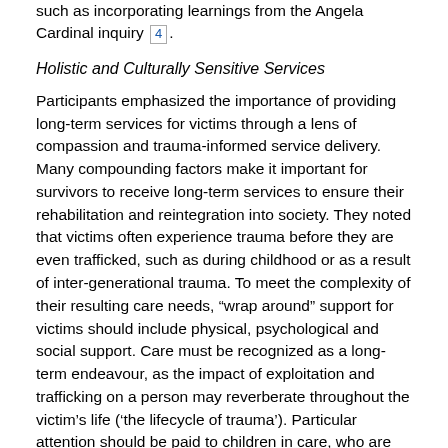such as incorporating learnings from the Angela Cardinal inquiry 4.
Holistic and Culturally Sensitive Services
Participants emphasized the importance of providing long-term services for victims through a lens of compassion and trauma-informed service delivery. Many compounding factors make it important for survivors to receive long-term services to ensure their rehabilitation and reintegration into society. They noted that victims often experience trauma before they are even trafficked, such as during childhood or as a result of inter-generational trauma. To meet the complexity of their resulting care needs, “wrap around” support for victims should include physical, psychological and social support. Care must be recognized as a long-term endeavour, as the impact of exploitation and trafficking on a person may reverberate throughout the victim’s life (‘the lifecycle of trauma’). Particular attention should be paid to children in care, who are particularly vulnerable and may require specialized services.